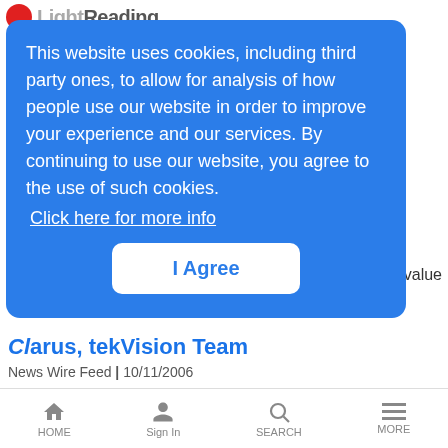Light Reading
This website uses cookies, including third party ones, to allow for analysis of how people use our website in order to improve your experience and our services. By continuing to use our website, you agree to the use of such cookies.
Click here for more info
I Agree
r value
gration
Clarus, tekVision Team
News Wire Feed | 10/11/2006
Clarus Systems and tekVizion PVS announced that the two companies have entered into an agreement
HR Hosts Links 2006
News Wire Feed | 10/11/2006
HOME  Sign In  SEARCH  MORE